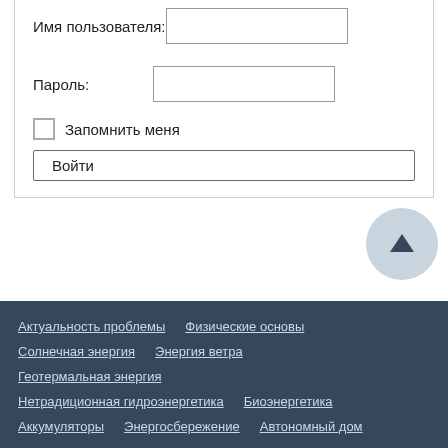Имя пользователя:
Пароль:
Запомнить меня
Войти
Актуальность проблемы  Физические основы  Солнечная энергия  Энергия ветра  Геотермальная энергия  Нетрадиционная гидроэнергетика  Биоэнергетика  Аккумуляторы  Энергосбережение  Автономный дом